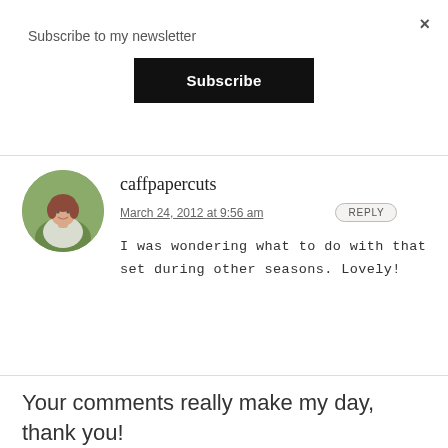×
Subscribe to my newsletter
Subscribe
[Figure (photo): Circular avatar photo of a woman with reddish-brown hair, smiling, wearing a light-colored top, with a green outdoor background.]
caffpapercuts
March 24, 2012 at 9:56 am
REPLY
I was wondering what to do with that set during other seasons. Lovely!
Your comments really make my day, thank you!